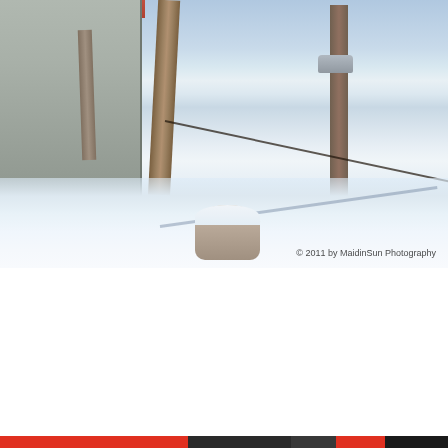[Figure (photo): Winter scene photograph showing a leaning utility pole next to a white shed/outbuilding on the left, snow-covered ground, bare trees in background, a wooden stump in the foreground covered with snow, and a wire running diagonally. A car is visible in the background. Watermark reads '© 2011 by MaidinSun Photography'.]
Privacy & Cookies: This site uses cookies. By continuing to use this website, you agree to their use.
To find out more, including how to control cookies, see here: Cookie Policy
Close and accept